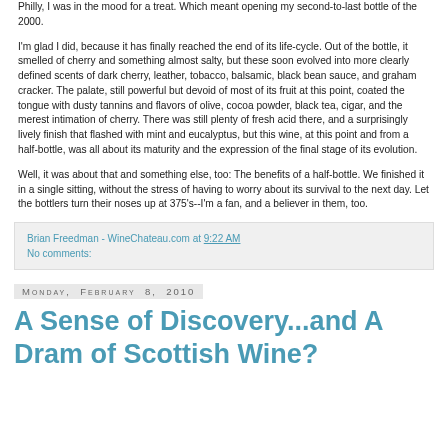Philly, I was in the mood for a treat. Which meant opening my second-to-last bottle of the 2000.

I'm glad I did, because it has finally reached the end of its life-cycle. Out of the bottle, it smelled of cherry and something almost salty, but these soon evolved into more clearly defined scents of dark cherry, leather, tobacco, balsamic, black bean sauce, and graham cracker. The palate, still powerful but devoid of most of its fruit at this point, coated the tongue with dusty tannins and flavors of olive, cocoa powder, black tea, cigar, and the merest intimation of cherry. There was still plenty of fresh acid there, and a surprisingly lively finish that flashed with mint and eucalyptus, but this wine, at this point and from a half-bottle, was all about its maturity and the expression of the final stage of its evolution.

Well, it was about that and something else, too: The benefits of a half-bottle. We finished it in a single sitting, without the stress of having to worry about its survival to the next day. Let the bottlers turn their noses up at 375's--I'm a fan, and a believer in them, too.
Brian Freedman - WineChateau.com at 9:22 AM
No comments:
Monday, February 8, 2010
A Sense of Discovery...and A Dram of Scottish Wine?